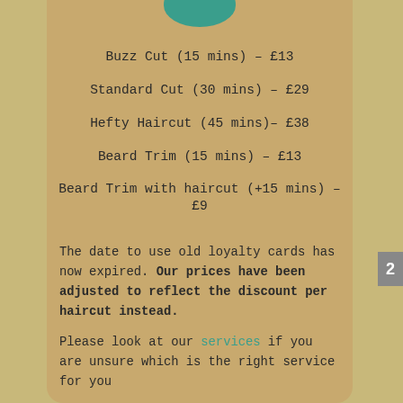Buzz Cut (15 mins) – £13
Standard Cut (30 mins) – £29
Hefty Haircut (45 mins)– £38
Beard Trim (15 mins) – £13
Beard Trim with haircut (+15 mins) – £9
The date to use old loyalty cards has now expired. Our prices have been adjusted to reflect the discount per haircut instead.
Please look at our services if you are unsure which is the right service for you